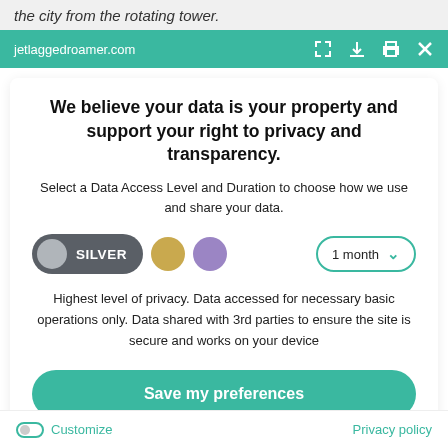the city from the rotating tower.
jetlaggedroamer.com
We believe your data is your property and support your right to privacy and transparency.
Select a Data Access Level and Duration to choose how we use and share your data.
[Figure (other): Privacy consent widget showing SILVER level selector pill, gold and purple circle options, and a 1 month dropdown]
Highest level of privacy. Data accessed for necessary basic operations only. Data shared with 3rd parties to ensure the site is secure and works on your device
Save my preferences
Customize
Privacy policy